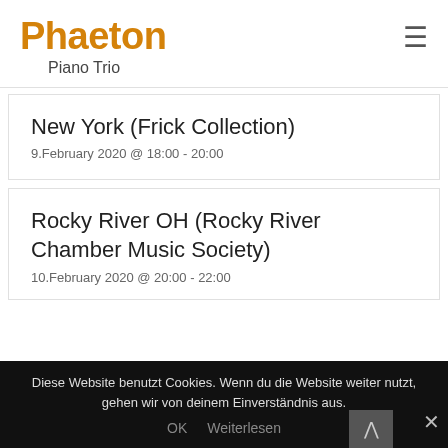Phaeton Piano Trio
New York (Frick Collection)
9.February 2020 @ 18:00 - 20:00
Rocky River OH (Rocky River Chamber Music Society)
10.February 2020 @ 20:00 - 22:00
Diese Website benutzt Cookies. Wenn du die Website weiter nutzt, gehen wir von deinem Einverständnis aus.
OK  Weiterlesen